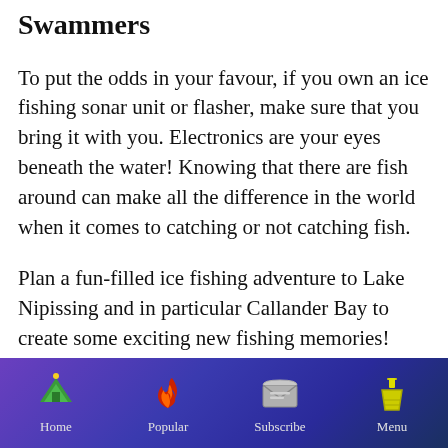Swammers
To put the odds in your favour, if you own an ice fishing sonar unit or flasher, make sure that you bring it with you. Electronics are your eyes beneath the water! Knowing that there are fish around can make all the difference in the world when it comes to catching or not catching fish.
Plan a fun-filled ice fishing adventure to Lake Nipissing and in particular Callander Bay to create some exciting new fishing memories!
Home | Popular | Subscribe | Menu